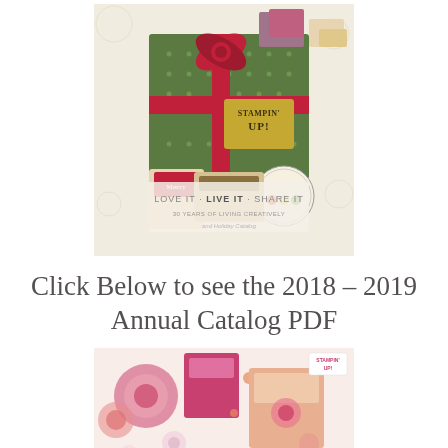[Figure (photo): Stampin' Up! Holiday catalog cover featuring a green gift box with red ribbon and bow, surrounded by holiday crafting items, with text 'LOVE IT · LIVE IT · SHARE IT' and '30 YEARS OF LIVING CREATIVELY' and 'Holiday Catalog']
Click Below to see the 2018 – 2019 Annual Catalog PDF
[Figure (photo): Stampin' Up! Annual Catalog cover featuring pink and coral floral crafting items and cards on a light background with Stampin' Up! logo in upper right]